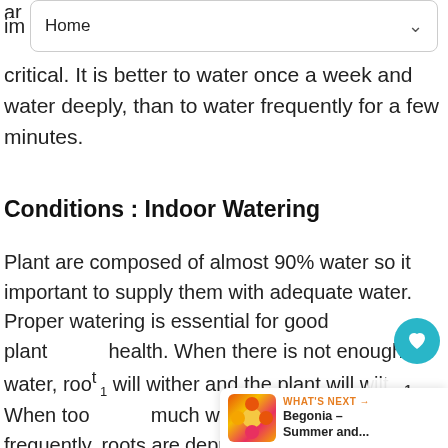critical. It is better to water once a week and water deeply, than to water frequently for a few minutes.
Conditions : Indoor Watering
Plant are composed of almost 90% water so it important to supply them with adequate water. Proper watering is essential for good plant health. When there is not enough water, roots will wither and the plant will wilt. When too much water is applied too frequently, roots are deprived of oxygen and diseases oc... as root and stem rots.